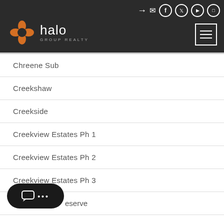Halo Group Realty – navigation header with logo and social icons
Chreene Sub
Creekshaw
Creekside
Creekview Estates Ph 1
Creekview Estates Ph 2
Creekview Estates Ph 3
…eserve
DeBerry Reserve (partial)